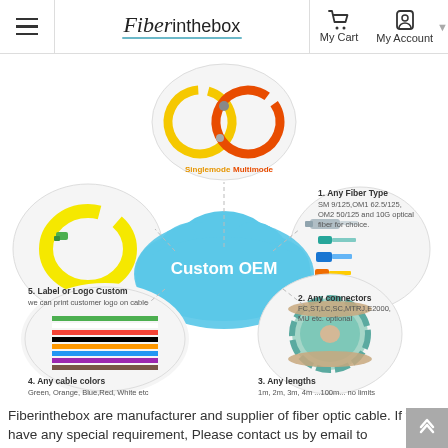Fiberinthebox — My Cart | My Account
[Figure (infographic): Custom OEM fiber optic cable infographic showing a cloud labeled 'Custom OEM' in the center, surrounded by 5 options: 1. Any Fiber Type (SM 9/125, OM1 62.5/125, OM2 50/125 and 10G optical fiber for choice), 2. Any connectors (FC,ST,LC,SC,MTRJ,E2000, MU etc. optional), 3. Any lengths (1m, 2m, 3m, 4m ...100m... no limits), 4. Any cable colors (Green, Orange, Blue, Red, White etc), 5. Label or Logo Custom (we can print customer logo on cable). Images include singlemode/multimode fiber loops, yellow pigtail, connector types, spool of cable, and multicolor cables.]
Fiberinthebox are manufacturer and supplier of fiber optic cable. If you have any special requirement, Please contact us by email to sales@fiberinthebox.com .